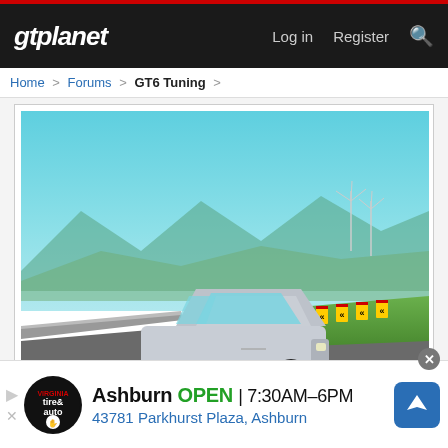gtplanet — Log in  Register
Home > Forums > GT6 Tuning >
[Figure (screenshot): In-game screenshot from Gran Turismo 6 showing a silver hatchback car (Peugeot 206) on a track with chevron warning signs in the background, watermark 'PHOBOS' in bottom right.]
Click to expand...
Awesome tune! I bet it would work well at 450p as well. These cars do not get enough love on here. There are only a handful of 206 tunes on GTPlanet. Thanks for sharing 🙂
[Figure (photo): Advertisement: Virginia Tire & Auto logo, Ashburn location, OPEN 7:30AM-6PM, 43781 Parkhurst Plaza, Ashburn, with navigation arrow icon.]